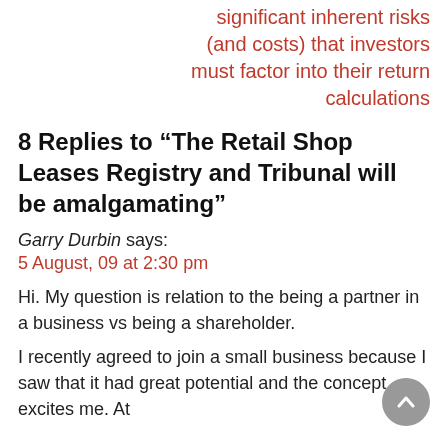significant inherent risks (and costs) that investors must factor into their return calculations
8 Replies to “The Retail Shop Leases Registry and Tribunal will be amalgamating”
Garry Durbin says:
5 August, 09 at 2:30 pm
Hi. My question is relation to the being a partner in a business vs being a shareholder.
I recently agreed to join a small business because I saw that it had great potential and the concept excites me. At